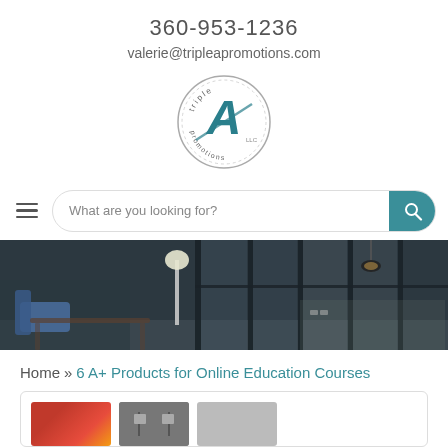360-953-1236
valerie@tripleapromotions.com
[Figure (logo): Triple A Promotions circular logo with stylized A in teal]
What are you looking for?
[Figure (photo): Interior hallway with dark glass partitions, floor lamp, blue chairs, overhead pendant lights]
Home » 6 A+ Products for Online Education Courses
[Figure (photo): Partial view of product card with colorful images]